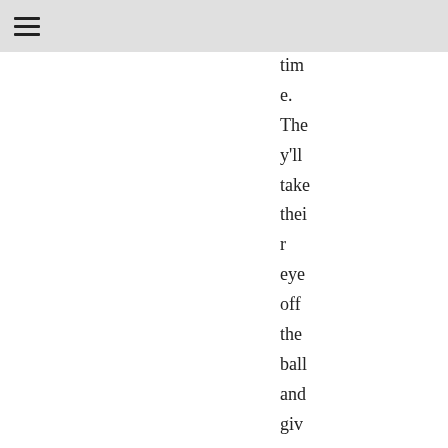time. They'll take their eye off the ball and give me a chance